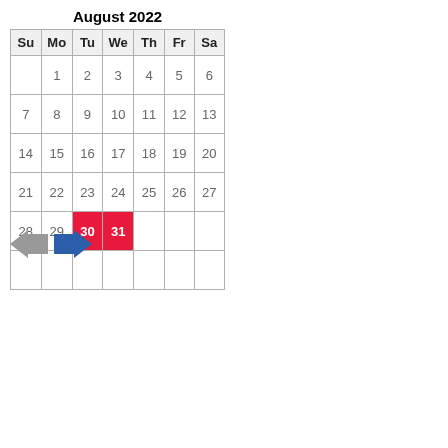August 2022
| Su | Mo | Tu | We | Th | Fr | Sa |
| --- | --- | --- | --- | --- | --- | --- |
|  | 1 | 2 | 3 | 4 | 5 | 6 |
| 7 | 8 | 9 | 10 | 11 | 12 | 13 |
| 14 | 15 | 16 | 17 | 18 | 19 | 20 |
| 21 | 22 | 23 | 24 | 25 | 26 | 27 |
| 28 | 29 | 30 | 31 |  |  |  |
|  |  |  |  |  |  |  |
[Figure (illustration): Navigation arrows: a gray left arrow and a blue right arrow]